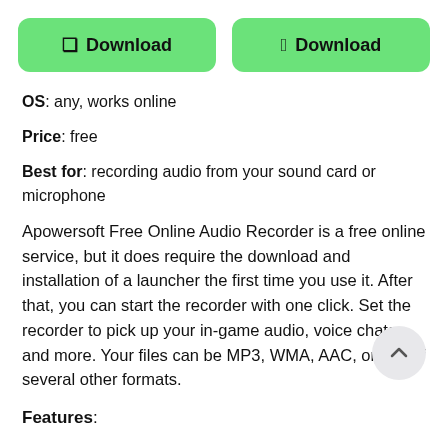[Figure (other): Two green download buttons side by side: one for Windows (Windows icon + Download) and one for Mac (Apple icon + Download)]
OS: any, works online
Price: free
Best for: recording audio from your sound card or microphone
Apowersoft Free Online Audio Recorder is a free online service, but it does require the download and installation of a launcher the first time you use it. After that, you can start the recorder with one click. Set the recorder to pick up your in-game audio, voice chats, and more. Your files can be MP3, WMA, AAC, or any of several other formats.
Features: